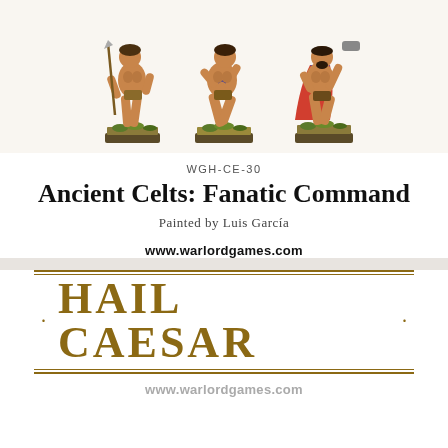[Figure (photo): Three painted miniature figurines of Ancient Celtic fanatic warriors, bare-chested with weapons and a cape, mounted on green grass bases. White background.]
WGH-CE-30
Ancient Celts: Fanatic Command
Painted by Luis García
www.warlordgames.com
[Figure (logo): Hail Caesar logo with gold decorative double rules, dots on either side, and the text HAIL CAESAR in large bold gold serif font.]
www.warlordgames.com